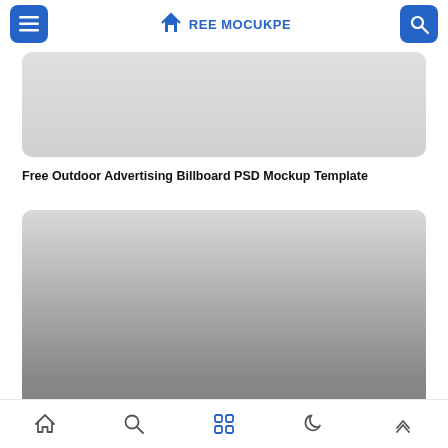FREE MOCKPE
[Figure (photo): Gray placeholder image rectangle with rounded corners, light gray gradient]
Free Outdoor Advertising Billboard PSD Mockup Template
[Figure (photo): Larger gray gradient placeholder image rectangle with rounded corners, darker at the bottom]
Navigation bar with home, search, grid, moon, and up-arrow icons